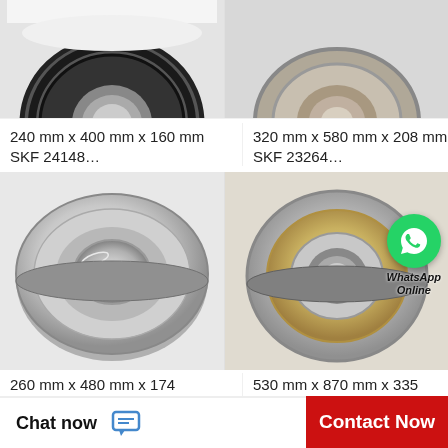[Figure (photo): Close-up photo of a black-sealed ball bearing (top portion visible), 240mm x 400mm x 160mm SKF 24148]
[Figure (photo): Close-up photo of a bearing with grey/silver casing, 320mm x 580mm x 208mm SKF 23264]
240 mm x 400 mm x 160 mm SKF 24148…
320 mm x 580 mm x 208 mm SKF 23264…
[Figure (photo): Silver/metallic shielded ball bearing with flat profile, 260mm x 480mm x 174mm SKF 23252 CAC/W]
[Figure (photo): Angular contact bearing with gold/yellow cage, with WhatsApp Online overlay, 530mm x 870mm x 335mm SKF 241/530]
260 mm x 480 mm x 174 mm SKF 23252 CAC/W…
530 mm x 870 mm x 335 mm SKF 241/530…
Chat now
Contact Now